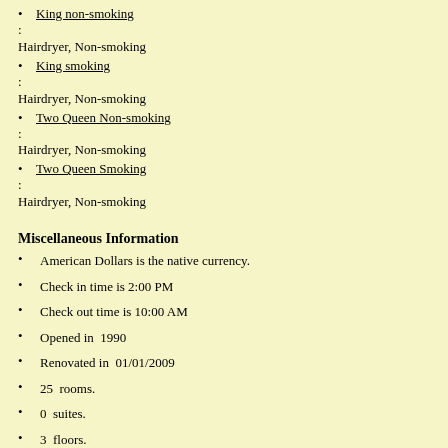King non-smoking
:
Hairdryer, Non-smoking
King smoking
:
Hairdryer, Non-smoking
Two Queen Non-smoking
:
Hairdryer, Non-smoking
Two Queen Smoking
:
Hairdryer, Non-smoking
Miscellaneous Information
American Dollars is the native currency.
Check in time is 2:00 PM
Check out time is 10:00 AM
Opened in  1990
Renovated in  01/01/2009
25  rooms.
0  suites.
3  floors.